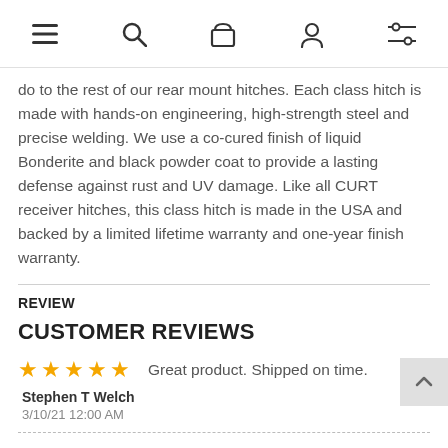Navigation bar with menu, search, bag, account, and filter icons
do to the rest of our rear mount hitches. Each class hitch is made with hands-on engineering, high-strength steel and precise welding. We use a co-cured finish of liquid Bonderite and black powder coat to provide a lasting defense against rust and UV damage. Like all CURT receiver hitches, this class hitch is made in the USA and backed by a limited lifetime warranty and one-year finish warranty.
REVIEW
CUSTOMER REVIEWS
★★★★★ Great product. Shipped on time.
Stephen T Welch
3/10/21 12:00 AM